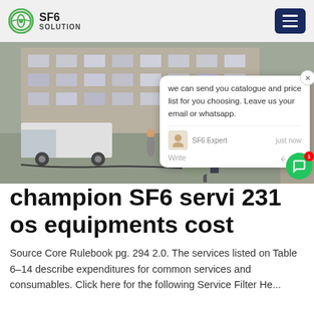SF6 SOLUTION
[Figure (photo): Street scene showing workers and a truck next to an old residential building, with cables and equipment on the ground.]
champion SF6 servi 231 os equipments cost
Source Core Rulebook pg. 294 2.0. The services listed on Table 6–14 describe expenditures for common services and consumables. Click here for the following Service Filter He...